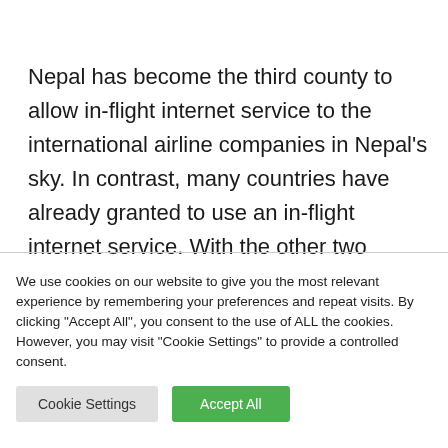Nepal has become the third county to allow in-flight internet service to the international airline companies in Nepal's sky. In contrast, many countries have already granted to use an in-flight internet service. With the other two countries India and Afghanistan, in South Asia, Nepal has become
We use cookies on our website to give you the most relevant experience by remembering your preferences and repeat visits. By clicking "Accept All", you consent to the use of ALL the cookies. However, you may visit "Cookie Settings" to provide a controlled consent.